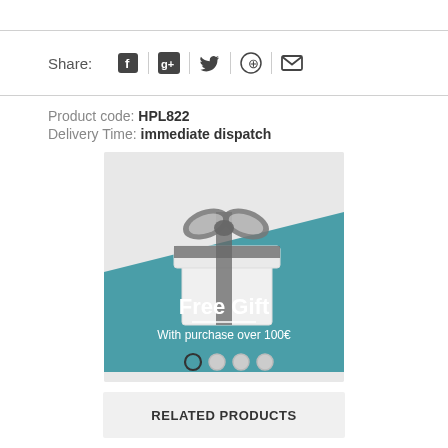Share: [Facebook] [Google+] [Twitter] [Pinterest] [Email]
Product code: HPL822
Delivery Time: immediate dispatch
[Figure (illustration): Gift box with ribbon and bow on teal background with text: Free Gift — With purchase over 100€. Slider dots below.]
RELATED PRODUCTS